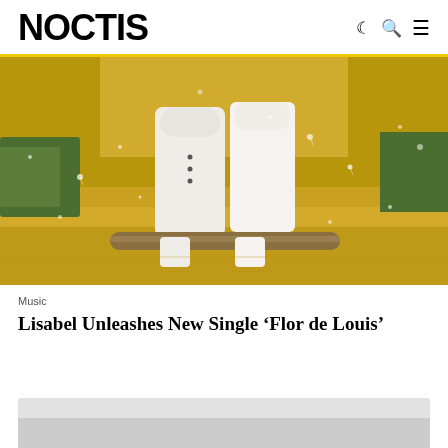NOCTIS
[Figure (photo): Two people dressed in white sitting in a golden grassy field with dandelion seeds floating in the air]
Music
Lisabel Unleashes New Single ‘Flor de Louis’
[Figure (photo): Partial bottom image, cropped, light grey/white tones]